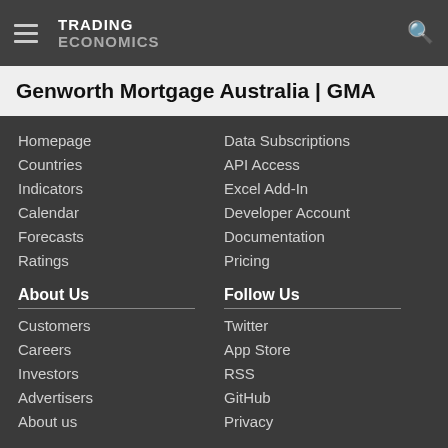TRADING ECONOMICS
Genworth Mortgage Australia | GMA
Homepage
Countries
Indicators
Calendar
Forecasts
Ratings
Data Subscriptions
API Access
Excel Add-In
Developer Account
Documentation
Pricing
About Us
Follow Us
Customers
Careers
Investors
Advertisers
About us
Twitter
App Store
RSS
GitHub
Privacy
Copyright ©2022 TRADING ECONOMICS
All Rights Reserved